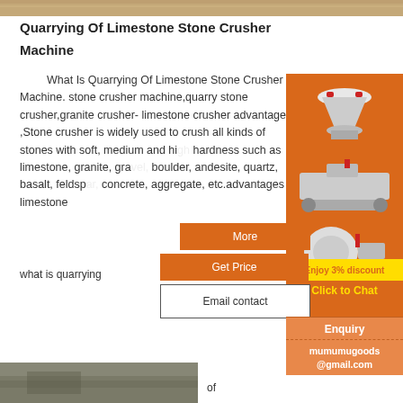[Figure (photo): Top strip image of stone/quarry material]
Quarrying Of Limestone Stone Crusher Machine
What Is Quarrying Of Limestone Stone Crusher Machine. stone crusher machine,quarry stone crusher,granite crusher- limestone crusher advantages ,Stone crusher is widely used to crush all kinds of stones with soft, medium and high hardness such as limestone, granite, gravel, boulder, andesite, quartz, basalt, feldspar, concrete, aggregate, etc.advantages of limestone
[Figure (illustration): Orange advertisement sidebar with crusher machine illustrations, 'Enjoy 3% discount' yellow banner, and 'Click to Chat' button]
More
Get Price
what is quarrying
Email contact
Enquiry
mumumugoods@gmail.com
of
[Figure (photo): Bottom partial image of quarry/stone scene]